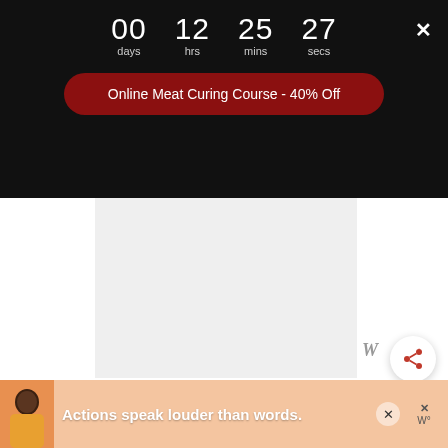00 days  12 hrs  25 mins  27 secs
Online Meat Curing Course - 40% Off
[Figure (photo): Large image placeholder area (white/grey rectangle, image not loaded)]
Furthermore, low & slow bark is a combination of spices, sugar and salt. It is rubbed over the meat prior to smoking. It’s a sugar crust that
[Figure (infographic): Advertisement banner: person in yellow clothing with text 'Actions speak louder than words.']